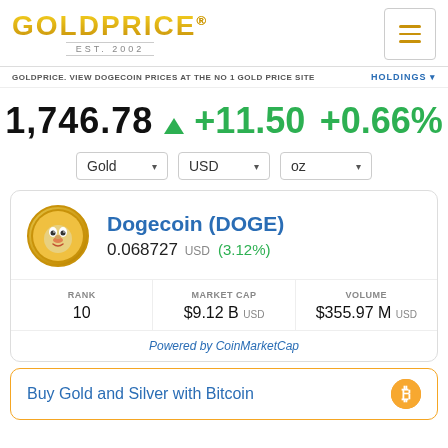GOLDPRICE® EST. 2002
GOLDPRICE. VIEW DOGECOIN PRICES AT THE NO 1 GOLD PRICE SITE
HOLDINGS
1,746.78 ▲ +11.50 +0.66%
Gold | USD | oz
Dogecoin (DOGE)
0.068727 USD (3.12%)
| RANK | MARKET CAP | VOLUME |
| --- | --- | --- |
| 10 | $9.12 B USD | $355.97 M USD |
Powered by CoinMarketCap
Buy Gold and Silver with Bitcoin